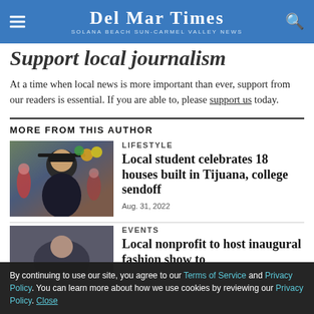Del Mar Times — Solana Beach Sun-Carmel Valley News
Support local journalism
At a time when local news is more important than ever, support from our readers is essential. If you are able to, please support us today.
MORE FROM THIS AUTHOR
[Figure (photo): Photo of a young woman in graduation cap smiling, with balloons and crowd in background]
LIFESTYLE
Local student celebrates 18 houses built in Tijuana, college sendoff
Aug. 31, 2022
EVENTS
Local nonprofit to host inaugural fashion show to
By continuing to use our site, you agree to our Terms of Service and Privacy Policy. You can learn more about how we use cookies by reviewing our Privacy Policy. Close